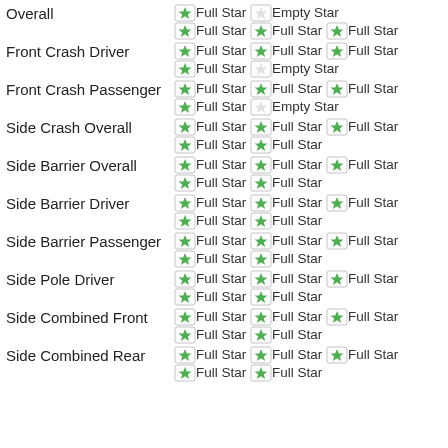Overall: Full Star, Empty Star (row 1); then Full Star, Full Star, Full Star, Full Star, Empty Star (row 2 shown as two lines)
Front Crash Driver: Full Star Full Star Full Star / Full Star Empty Star
Front Crash Passenger: Full Star Full Star Full Star / Full Star Empty Star
Side Crash Overall: Full Star Full Star Full Star / Full Star Full Star
Side Barrier Overall: Full Star Full Star Full Star / Full Star Full Star
Side Barrier Driver: Full Star Full Star Full Star / Full Star Full Star
Side Barrier Passenger: Full Star Full Star Full Star / Full Star Full Star
Side Pole Driver: Full Star Full Star Full Star / Full Star Full Star
Side Combined Front: Full Star Full Star Full Star / Full Star Full Star
Side Combined Rear: Full Star Full Star Full Star / Full Star Full Star